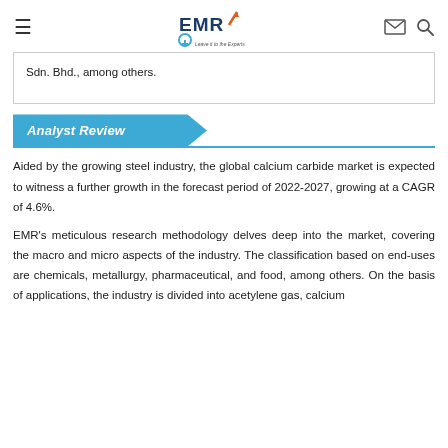EMR — Leave it to the Experts
Sdn. Bhd., among others.
Analyst Review
Aided by the growing steel industry, the global calcium carbide market is expected to witness a further growth in the forecast period of 2022-2027, growing at a CAGR of 4.6%.
EMR's meticulous research methodology delves deep into the market, covering the macro and micro aspects of the industry. The classification based on end-uses are chemicals, metallurgy, pharmaceutical, and food, among others. On the basis of applications, the industry is divided into acetylene gas, calcium